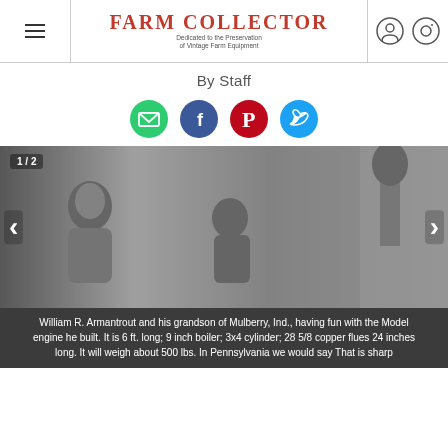Farm Collector — Dedicated to the Preservation of Vintage Farm Equipment
By Staff
[Figure (infographic): Social sharing icons: email (green), Facebook (blue), Pinterest (dark red), Twitter (light blue)]
[Figure (photo): Black and white photo of William R. Armantrout and his grandson in Mulberry, Ind., with a model steam engine. Slide 1 of 2.]
William R. Armantrout and his grandson of Mulberry, Ind., having fun with the Model engine he built. It is 6 ft. long; 9 inch boiler; 3x4 cylinder; 28 5/8 copper flues 24 inches long. It will weigh about 500 lbs. In Pennsylvania we would say That is sharp